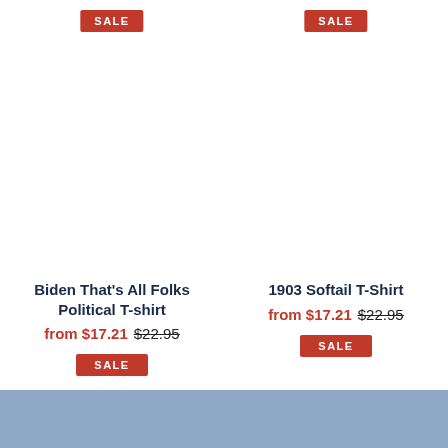[Figure (photo): Product listing for Biden That's All Folks Political T-shirt with SALE badge at top, price from $17.21 strikethrough $22.95, and SALE button at bottom]
Biden That's All Folks Political T-shirt
from $17.21 $22.95
SALE
[Figure (photo): Product listing for 1903 Softail T-Shirt with SALE badge at top, price from $17.21 strikethrough $22.95, and SALE button at bottom]
1903 Softail T-Shirt
from $17.21 $22.95
SALE